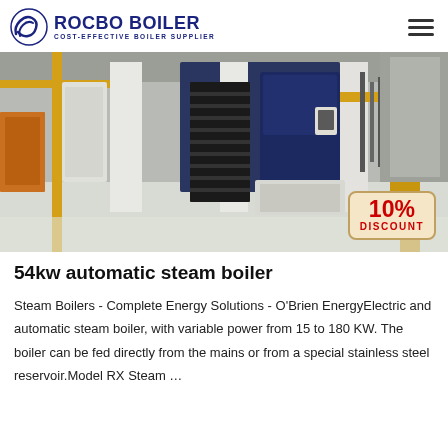ROCBO BOILER — COST-EFFECTIVE BOILER SUPPLIER
[Figure (photo): Industrial boiler room with yellow pipes, metal staircases, and large boiler units. A 10% DISCOUNT badge is shown in the bottom-right corner.]
54kw automatic steam boiler
Steam Boilers - Complete Energy Solutions - O'Brien EnergyElectric and automatic steam boiler, with variable power from 15 to 180 KW. The boiler can be fed directly from the mains or from a special stainless steel reservoir.Model RX Steam …